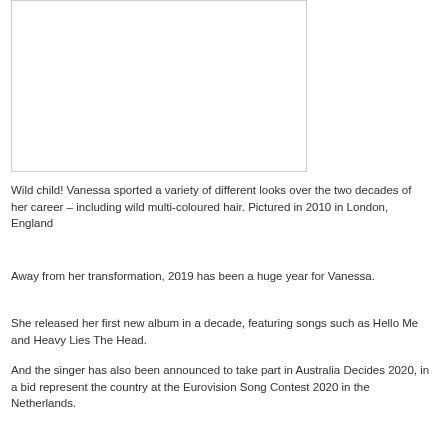[Figure (photo): A white/blank photo placeholder with a thin border]
Wild child! Vanessa sported a variety of different looks over the two decades of her career – including wild multi-coloured hair. Pictured in 2010 in London, England
Away from her transformation, 2019 has been a huge year for Vanessa.
She released her first new album in a decade, featuring songs such as Hello Me and Heavy Lies The Head.
And the singer has also been announced to take part in Australia Decides 2020, in a bid represent the country at the Eurovision Song Contest 2020 in the Netherlands.